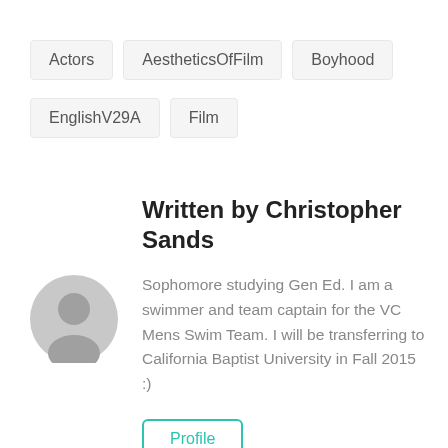Actors
AestheticsOfFilm
Boyhood
EnglishV29A
Film
Written by Christopher Sands
Sophomore studying Gen Ed. I am a swimmer and team captain for the VC Mens Swim Team. I will be transferring to California Baptist University in Fall 2015 :)
Profile